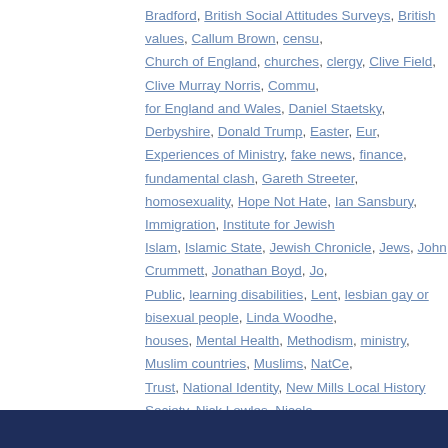Bradford, British Social Attitudes Surveys, British values, Callum Brown, census, Church of England, churches, clergy, Clive Field, Clive Murray Norris, Community for England and Wales, Daniel Staetsky, Derbyshire, Donald Trump, Easter, Euro, Experiences of Ministry, fake news, finance, fundamental clash, Gareth Streeter, homosexuality, Hope Not Hate, Ian Sansbury, Immigration, Institute for Jewish, Islam, Islamic State, Jewish Chronicle, Jews, John Crummett, Jonathan Boyd, Jo, Public, learning disabilities, Lent, lesbian gay or bisexual people, Linda Woodhe, houses, Mental Health, Methodism, ministry, Muslim countries, Muslims, NatCe, Trust, National Identity, New Mills Local History Society, Nick Lowles, Nicola, Society, Olivia Michelmore, Opinium Research, origins of life on earth, Oxford, Global Attitudes Project, places of worship, Populus, PwC, Religious Affiliation, religious leaders, religious nones, religious prejudice, Roger Hutchinson, same-s, Government, Scottish Surveys Core Questions, secularization, Southend News N, up to Serve, Steve Chalke, Sunday Mirror, terrorist attack, The Independent, The, trust, Twenty-First Century Evangelicals, United States of America, Varkey Foun, Education Tracker, Wellcome Trust, Western civilization, Women and the Chur, social action | Leave a comment